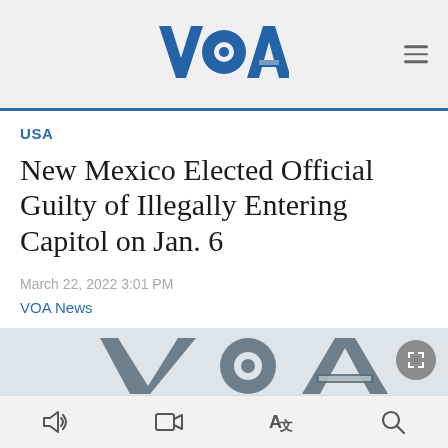VOA
USA
New Mexico Elected Official Guilty of Illegally Entering Capitol on Jan. 6
March 22, 2022 3:01 PM
VOA News
[Figure (logo): VOA logo watermark displayed in grey over light blue-grey background, partially cropped]